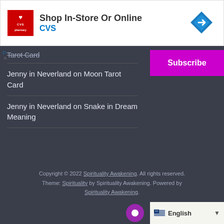[Figure (other): CVS Pharmacy advertisement banner: CVS red logo on left, text 'Shop In-Store Or Online' with 'CVS' in blue below, blue diamond direction arrow icon on right]
Tarot Card
Jenny in Neverland on Moon Tarot Card
Jenny in Neverland on Snake in Dream Meaning
[Figure (other): Purple Subscribe button]
Copyright © 2022 Spirituality Awakening. All rights reserved. Theme: Spirituality by Spirituality Awakening. Powered by Spirituality Awakening.
[Figure (other): Language selector showing English with flag, and chat bubble icon]